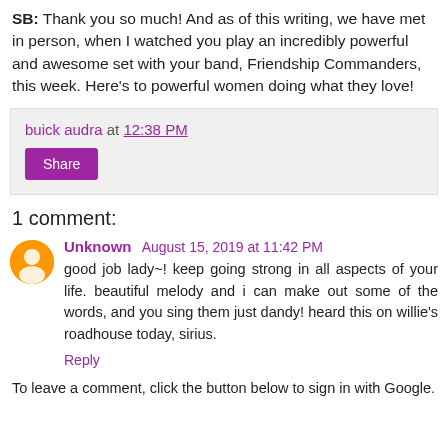SB: Thank you so much! And as of this writing, we have met in person, when I watched you play an incredibly powerful and awesome set with your band, Friendship Commanders, this week. Here's to powerful women doing what they love!
buick audra at 12:38 PM
Share
1 comment:
Unknown August 15, 2019 at 11:42 PM
good job lady~! keep going strong in all aspects of your life. beautiful melody and i can make out some of the words, and you sing them just dandy! heard this on willie's roadhouse today, sirius.
Reply
To leave a comment, click the button below to sign in with Google.